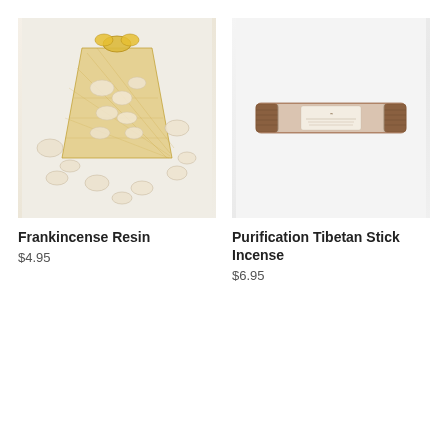[Figure (photo): A gold organza bag filled with frankincense resin pieces, with several resin chunks scattered around it on a white surface.]
[Figure (photo): A cylindrical clear-wrapped roll of brown Tibetan stick incense with a label, on a white surface.]
Frankincense Resin
$4.95
Purification Tibetan Stick Incense
$6.95